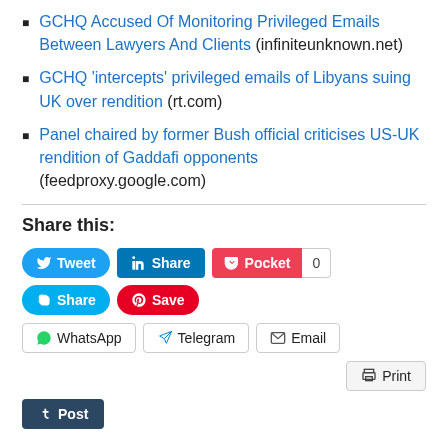GCHQ Accused Of Monitoring Privileged Emails Between Lawyers And Clients (infiniteunknown.net)
GCHQ 'intercepts' privileged emails of Libyans suing UK over rendition (rt.com)
Panel chaired by former Bush official criticises US-UK rendition of Gaddafi opponents (feedproxy.google.com)
Share this:
[Figure (screenshot): Social sharing buttons: Tweet, Share (LinkedIn), Pocket with count 0, Share (Skype), Save (Pinterest), WhatsApp, Telegram, Email, Print, Post (Tumblr)]
[Figure (other): Like button and blogger avatar. Text: One blogger likes this.]
One blogger likes this.